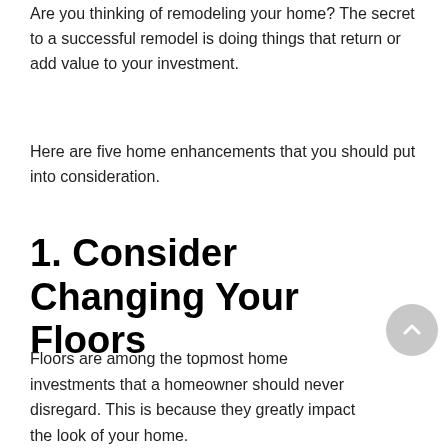Are you thinking of remodeling your home? The secret to a successful remodel is doing things that return or add value to your investment.
Here are five home enhancements that you should put into consideration.
1. Consider Changing Your Floors
Floors are among the topmost home investments that a homeowner should never disregard. This is because they greatly impact the look of your home.